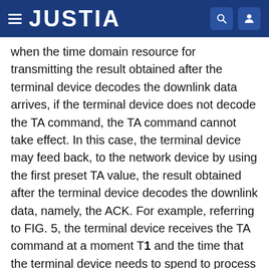JUSTIA
when the time domain resource for transmitting the result obtained after the terminal device decodes the downlink data arrives, if the terminal device does not decode the TA command, the TA command cannot take effect. In this case, the terminal device may feed back, to the network device by using the first preset TA value, the result obtained after the terminal device decodes the downlink data, namely, the ACK. For example, referring to FIG. 5, the terminal device receives the TA command at a moment T1 and the time that the terminal device needs to spend to process the TA command is Δ. In other words, the TA command takes effect at a moment T1+Δ at earliest. A start moment of the time domain resource used for the HARQ feedback is T2, and the moment T2 is earlier than the moment T1+Δ. In other words, the terminal device needs to perform the HARQ feedback at the moment T2, but the TA command has not taken effect.